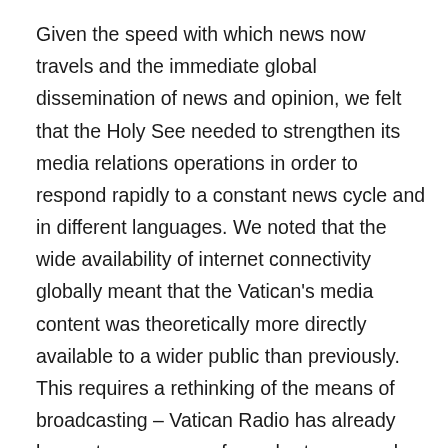Given the speed with which news now travels and the immediate global dissemination of news and opinion, we felt that the Holy See needed to strengthen its media relations operations in order to respond rapidly to a constant news cycle and in different languages. We noted that the wide availability of internet connectivity globally meant that the Vatican's media content was theoretically more directly available to a wider public than previously. This requires a rethinking of the means of broadcasting – Vatican Radio has already begun to move away from short wave and move towards internet platforms, and the Osservatore Romano has developed an on-line version. Even more urgently, we need a critical evaluation of the type of content being produced. What is needed now is more visual, multi-media content, especially if one wishes to reach younger people.  To be present effectively in